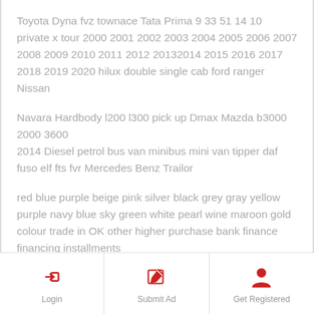Toyota Dyna fvz townace Tata Prima 9 33 51 14 10 private x tour 2000 2001 2002 2003 2004 2005 2006 2007 2008 2009 2010 2011 2012 20132014 2015 2016 2017 2018 2019 2020 hilux double single cab ford ranger Nissan
Navara Hardbody l200 l300 pick up Dmax Mazda b3000 2000 3600
2014 Diesel petrol bus van minibus mini van tipper daf fuso elf fts fvr Mercedes Benz Trailor
red blue purple beige pink silver black grey gray yellow purple navy blue sky green white pearl wine maroon gold colour trade in OK other higher purchase bank finance financing installments
Login | Submit Ad | Get Registered